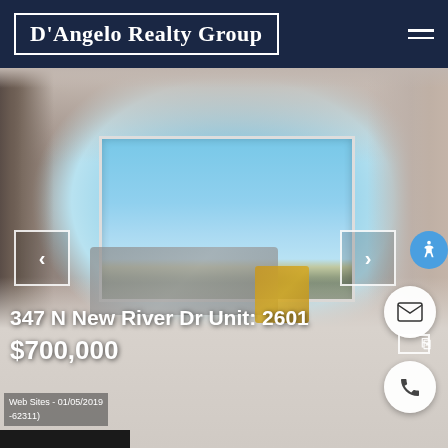D'Angelo Realty Group
[Figure (photo): Interior photo of a modern high-rise condo living room with floor-to-ceiling windows overlooking a city skyline. Gray sectional sofa, yellow accent chair, tile floors. Navigation arrows on left and right sides of image.]
347 N New River Dr Unit: 2601
$700,000
Web Sites - 01/05/2019
-62311)